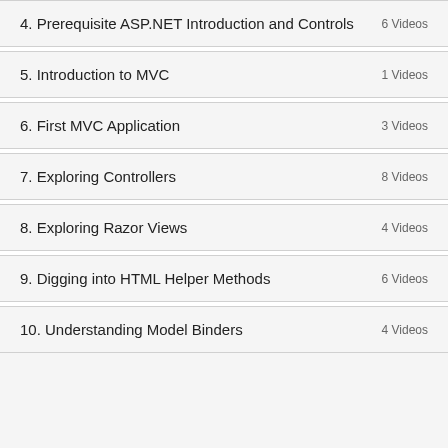4. Prerequisite ASP.NET Introduction and Controls
5. Introduction to MVC
6. First MVC Application
7. Exploring Controllers
8. Exploring Razor Views
9. Digging into HTML Helper Methods
10. Understanding Model Binders